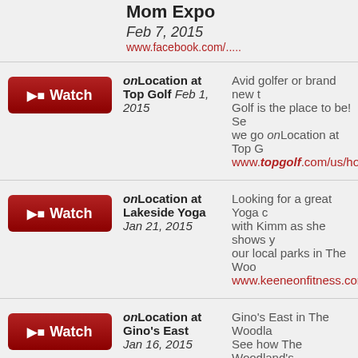Mom Expo Feb 7, 2015
onLocation at Top Golf Feb 1, 2015 — Avid golfer or brand new to Golf is the place to be! See we go onLocation at Top G www.topgolf.com/us/hous
onLocation at Lakeside Yoga Jan 21, 2015 — Looking for a great Yoga c with Kimm as she shows y our local parks in The Woo www.keeneonfitness.com/
onLocation at Gino's East Jan 16, 2015 — Gino's East in The Woodla See how The Woodland's restaurant did as we go o ourselves what all the bu